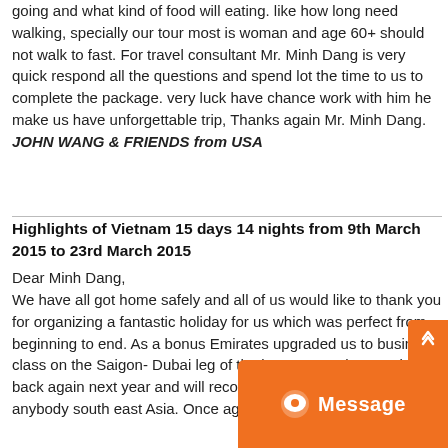going and what kind of food will eating. like how long need walking, specially our tour most is woman and age 60+ should not walk to fast. For travel consultant Mr. Minh Dang is very quick respond all the questions and spend lot the time to us to complete the package. very luck have chance work with him he make us have unforgettable trip, Thanks again Mr. Minh Dang.
JOHN WANG & FRIENDS from USA
Highlights of Vietnam 15 days 14 nights from 9th March 2015 to 23rd March 2015
Dear Minh Dang,
We have all got home safely and all of us would like to thank you for organizing a fantastic holiday for us which was perfect from beginning to end. As a bonus Emirates upgraded us to business class on the Saigon- Dubai leg of the journey! We hope to be back again next year and will recommend your service to anybody south east Asia. Once again many thanks.